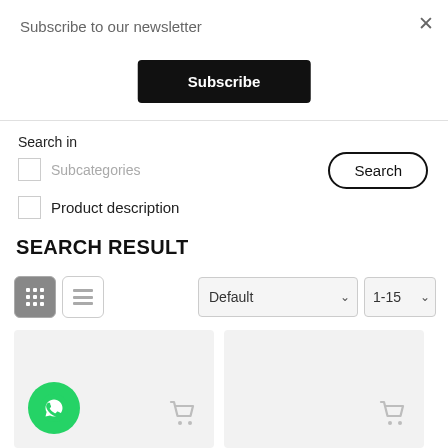Subscribe to our newsletter
Subscribe
×
Search in
Subcategories
Search
Product description
SEARCH RESULT
Default
1-15
[Figure (screenshot): Two product cards with shopping cart icons and a WhatsApp floating button]